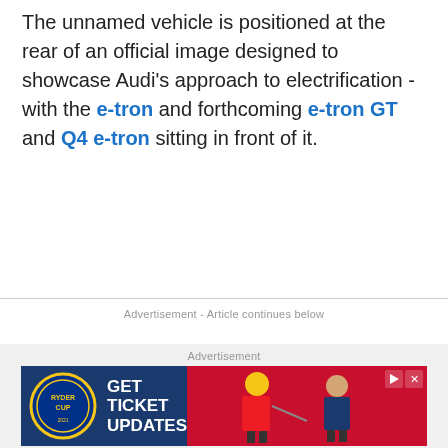The unnamed vehicle is positioned at the rear of an official image designed to showcase Audi's approach to electrification - with the e-tron and forthcoming e-tron GT and Q4 e-tron sitting in front of it.
Advertisement - Article continues below
Advertisement
[Figure (illustration): Ryder Cup advertisement banner: GET TICKET UPDATES with Ryder Cup logo and golfers in red uniforms]